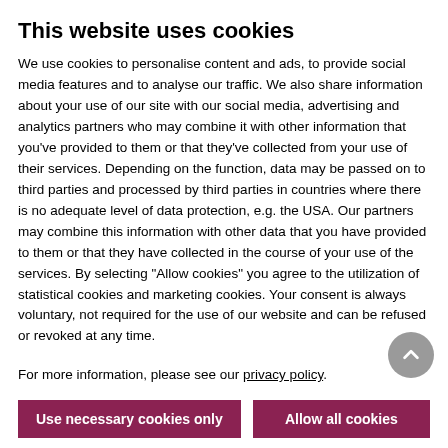This website uses cookies
We use cookies to personalise content and ads, to provide social media features and to analyse our traffic. We also share information about your use of our site with our social media, advertising and analytics partners who may combine it with other information that you've provided to them or that they've collected from your use of their services. Depending on the function, data may be passed on to third parties and processed by third parties in countries where there is no adequate level of data protection, e.g. the USA. Our partners may combine this information with other data that you have provided to them or that they have collected in the course of your use of the services. By selecting "Allow cookies" you agree to the utilization of statistical cookies and marketing cookies. Your consent is always voluntary, not required for the use of our website and can be refused or revoked at any time.
For more information, please see our privacy policy.
Use necessary cookies only
Allow all cookies
Show details
PRIVACY POLICY
CHANGE COOKIE CONSENT